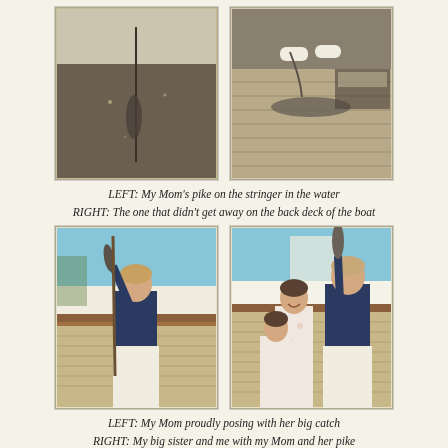[Figure (photo): Two vintage photographs side by side. LEFT: A sepia/dark photo of a pike fish on a stringer in the water beside a boat. RIGHT: An overhead view of a fish on the back deck of a boat with wooden planks visible.]
LEFT: My Mom's pike on the stringer in the water
RIGHT: The one that didn't get away on the back deck of the boat
[Figure (photo): Two vintage color photographs side by side. LEFT: A woman (Mom) in a navy sleeveless top and white shorts standing on the deck of a wooden boat, proudly holding up a large pike fish. RIGHT: The same woman with two young girls (big sister and the narrator) on the boat deck, Mom holding up the large pike.]
LEFT: My Mom proudly posing with her big catch
RIGHT: My big sister and me with my Mom and her pike